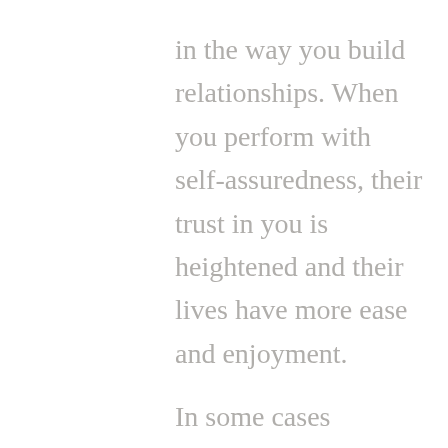in the way you build relationships. When you perform with self-assuredness, their trust in you is heightened and their lives have more ease and enjoyment.

In some cases (especially in a crisis) a person's confidence can even help to soothe another person's nervous systems, which